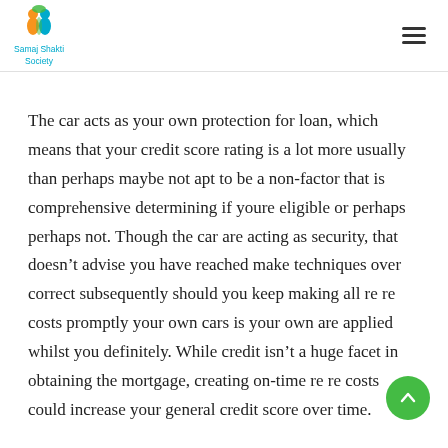Samaj Shakti Society
The car acts as your own protection for loan, which means that your credit score rating is a lot more usually than perhaps maybe not apt to be a non-factor that is comprehensive determining if youre eligible or perhaps perhaps not. Though the car are acting as security, that doesn't advise you have reached make techniques over correct subsequently should you keep making all re re costs promptly your own cars is your own are applied whilst you definitely. While credit isn't a huge facet in obtaining the mortgage, creating on-time re re costs could increase your general credit score over time.